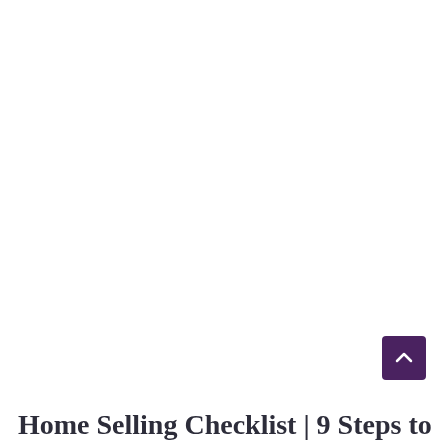[Figure (other): Scroll-to-top button: a dark purple square with a white upward-pointing chevron arrow]
Home Selling Checklist | 9 Steps to